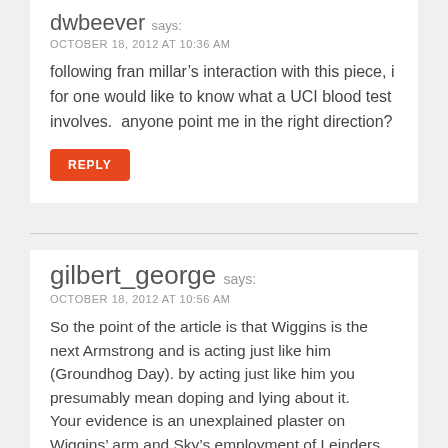dwbeever says:
OCTOBER 18, 2012 AT 10:36 AM
following fran millar’s interaction with this piece, i for one would like to know what a UCI blood test involves.  anyone point me in the right direction?
REPLY
gilbert_george says:
OCTOBER 18, 2012 AT 10:56 AM
So the point of the article is that Wiggins is the next Armstrong and is acting just like him (Groundhog Day). by acting just like him you presumably mean doping and lying about it.
Your evidence is an unexplained plaster on Wiggins’ arm and Sky’s employment of Leinders. Hasn’t Fran Millar just explained the plaster on twitter? Wiggins had a post TT blood test.
So the story boils down to inferring Wiggins is a